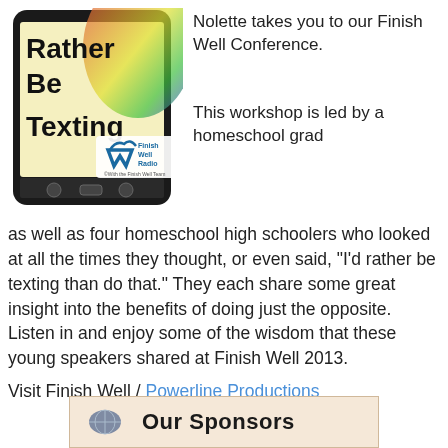[Figure (illustration): A smartphone/tablet device showing 'I'd Rather Be Texting' text on its screen with colorful graphic, and a Finish Well Radio logo overlay in the bottom right corner]
Nolette takes you to our Finish Well Conference.
This workshop is led by a homeschool grad as well as four homeschool high schoolers who looked at all the times they thought, or even said, “I’d rather be texting than do that.” They each share some great insight into the benefits of doing just the opposite. Listen in and enjoy some of the wisdom that these young speakers shared at Finish Well 2013.
Visit Finish Well / Powerline Productions
[Figure (illustration): Our Sponsors banner with a compass/globe icon and bold text reading 'Our Sponsors' on a light peach/tan background]